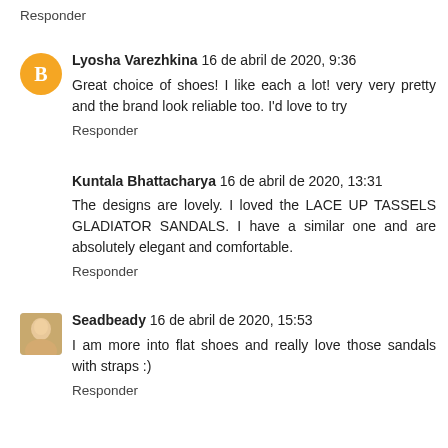Responder
Lyosha Varezhkina 16 de abril de 2020, 9:36
Great choice of shoes! I like each a lot! very very pretty and the brand look reliable too. I'd love to try
Responder
Kuntala Bhattacharya 16 de abril de 2020, 13:31
The designs are lovely. I loved the LACE UP TASSELS GLADIATOR SANDALS. I have a similar one and are absolutely elegant and comfortable.
Responder
Seadbeady 16 de abril de 2020, 15:53
I am more into flat shoes and really love those sandals with straps :)
Responder